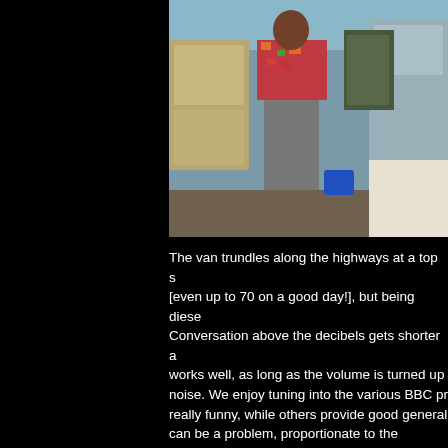[Figure (photo): Interior of a van with a person standing inside, wearing a floral top and grey trousers, surrounded by kitchen/living area equipment.]
The van trundles along the highways at a top s [even up to 70 on a good day!], but being diese Conversation above the decibels gets shorter a works well, as long as the volume is turned up noise. We enjoy tuning into the various BBC pr really funny, while others provide good general can be a problem, proportionate to the gradient steeper the hill, the slower we go [often down t the country roads are narrow, the queues of ca rearview mirror. It used to make David agitate, have learned to laugh about it: C'est la vie! [or 8' 6" wide, driving along these beautiful, dapple relaxing as one might expect. Trying to squeez embankment or hedgerow on the left, and a lar careering around a blind corner on the right, is